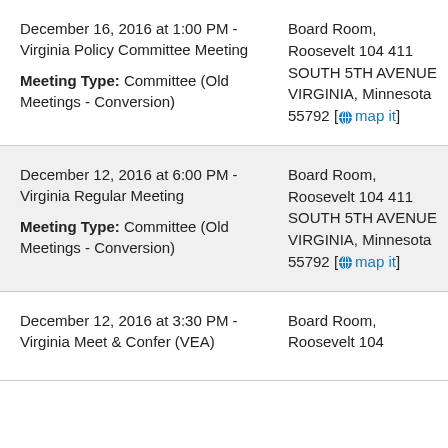December 16, 2016 at 1:00 PM - Virginia Policy Committee Meeting
Meeting Type: Committee (Old Meetings - Conversion)
Board Room, Roosevelt 104 411 SOUTH 5TH AVENUE VIRGINIA, Minnesota 55792 [map it]
Ag... Pr...
December 12, 2016 at 6:00 PM - Virginia Regular Meeting
Meeting Type: Committee (Old Meetings - Conversion)
Board Room, Roosevelt 104 411 SOUTH 5TH AVENUE VIRGINIA, Minnesota 55792 [map it]
Ag... Mi...
December 12, 2016 at 3:30 PM - Virginia Meet & Confer (VEA)
Board Room, Roosevelt 104
Ag... Pr...